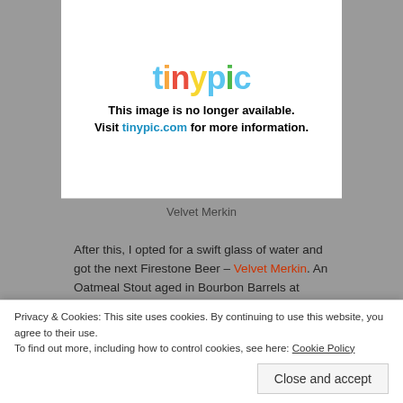[Figure (screenshot): Tinypic image placeholder showing 'This image is no longer available. Visit tinypic.com for more information.']
Velvet Merkin
After this, I opted for a swift glass of water and got the next Firestone Beer – Velvet Merkin. An Oatmeal Stout aged in Bourbon Barrels at 8.5%. On the nose I got so many complex aromas, Vanilla, a touch of Merlot, Oak, Coffee, Chocolate and Bourbon. When I tasted this beer I can honestly say it was one of the best Oatmeal Stouts I have had. Loads of Coffee,
Privacy & Cookies: This site uses cookies. By continuing to use this website, you agree to their use.
To find out more, including how to control cookies, see here: Cookie Policy
Close and accept